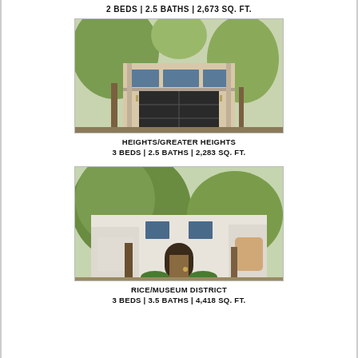2 BEDS | 2.5 BATHS | 2,673 SQ. FT.
[Figure (photo): Exterior photo of a modern two-story home with a large dark garage door, covered balcony, and surrounding trees. Heights/Greater Heights neighborhood.]
HEIGHTS/GREATER HEIGHTS
3 BEDS | 2.5 BATHS | 2,283 SQ. FT.
[Figure (photo): Exterior photo of a large white Mediterranean-style home with arched front door, mature oak trees, and attached garage on both sides. Rice/Museum District neighborhood.]
RICE/MUSEUM DISTRICT
3 BEDS | 3.5 BATHS | 4,418 SQ. FT.